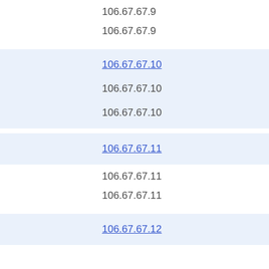106.67.67.9
106.67.67.9
106.67.67.10
106.67.67.10
106.67.67.10
106.67.67.11
106.67.67.11
106.67.67.11
106.67.67.12